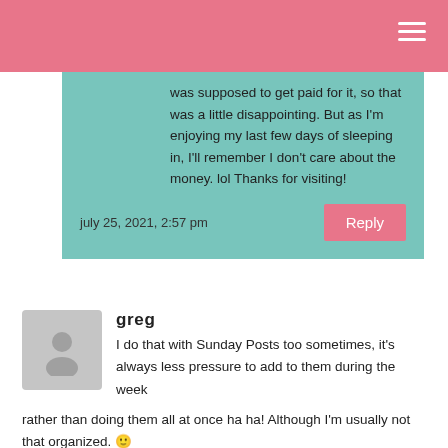was supposed to get paid for it, so that was a little disappointing. But as I'm enjoying my last few days of sleeping in, I'll remember I don't care about the money. lol Thanks for visiting!
july 25, 2021, 2:57 pm
greg
I do that with Sunday Posts too sometimes, it's always less pressure to add to them during the week rather than doing them all at once ha ha! Although I'm usually not that organized. 🙂
I don't get that about libraries either! Where did the quiet rule go lol?